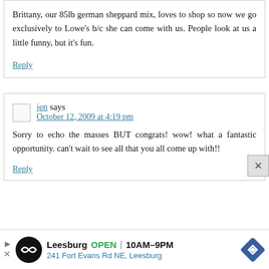Brittany, our 85lb german sheppard mix, loves to shop so now we go exclusively to Lowe's b/c she can come with us. People look at us a little funny, but it's fun.
Reply
jen says
October 12, 2009 at 4:19 pm
Sorry to echo the masses BUT congrats! wow! what a fantastic opportunity. can't wait to see all that you all come up with!!
Reply
[Figure (infographic): Advertisement banner: Leesburg OPEN 10AM-9PM, 241 Fort Evans Rd NE, Leesburg with circular logo and diamond navigation icon]